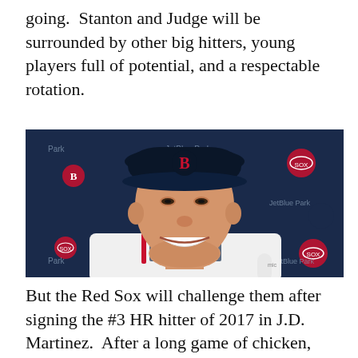going.  Stanton and Judge will be surrounded by other big hitters, young players full of potential, and a respectable rotation.
[Figure (photo): A smiling man wearing a Boston Red Sox cap and jersey at a press conference, with a dark navy blue backdrop featuring the Boston Red Sox logo and JetBlue Park text repeated.]
But the Red Sox will challenge them after signing the #3 HR hitter of 2017 in J.D. Martinez.  After a long game of chicken, they